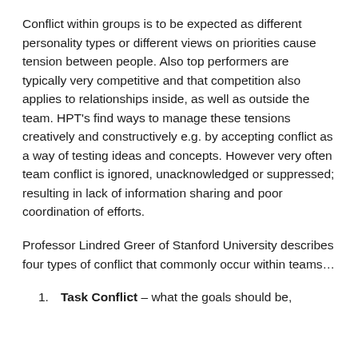Conflict within groups is to be expected as different personality types or different views on priorities cause tension between people. Also top performers are typically very competitive and that competition also applies to relationships inside, as well as outside the team. HPT's find ways to manage these tensions creatively and constructively e.g. by accepting conflict as a way of testing ideas and concepts. However very often team conflict is ignored, unacknowledged or suppressed; resulting in lack of information sharing and poor coordination of efforts.
Professor Lindred Greer of Stanford University describes four types of conflict that commonly occur within teams…
Task Conflict – what the goals should be,